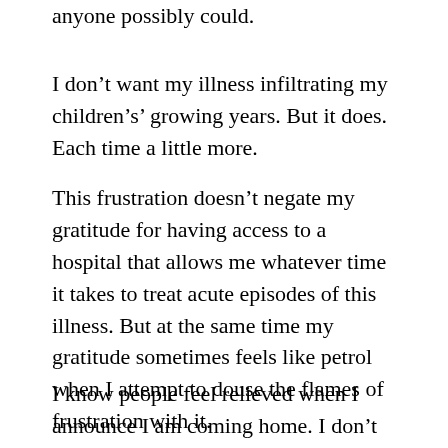anyone possibly could.
I don’t want my illness infiltrating my children’s’ growing years. But it does. Each time a little more.
This frustration doesn’t negate my gratitude for having access to a hospital that allows me whatever time it takes to treat acute episodes of this illness. But at the same time my gratitude sometimes feels like petrol when I attempt to douse the flames of frustration with it.
I know people feel relieved when I announce I am coming home. I don’t share their relief because it is not an easy slotting back into